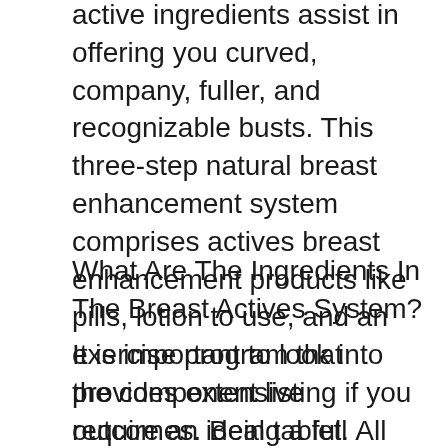active ingredients assist in offering you curved, company, fuller, and recognizable busts. This three-step natural breast enhancement system comprises actives breast enhancement products like pills, lotion to use, and an exercise program that provides extensive outcomes. Being a full breast enhancement formula, it is presently ruling the marketplace.
What Are The Ingredients In The Breast Actives System?
It is important to look into the component listing if you require an ideal tablet. All the components utilized in the solution of the Bust Active system are 100% natural and reliable.